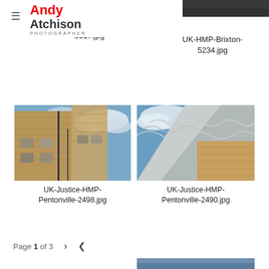Andy Atchison Photographer
[Figure (photo): Partial top view of HMP Brixton building, dark tones]
UK-HMP-Brixton-5017.jpg
[Figure (photo): Partial top view of HMP Brixton building, dark tones]
UK-HMP-Brixton-5234.jpg
[Figure (photo): Upward view of HMP Pentonville brick building with drainpipes against blue cloudy sky]
UK-Justice-HMP-Pentonville-2498.jpg
[Figure (photo): Upward view of HMP Pentonville with razor wire and metal sheeting against blue cloudy sky]
UK-Justice-HMP-Pentonville-2490.jpg
Page 1 of 3